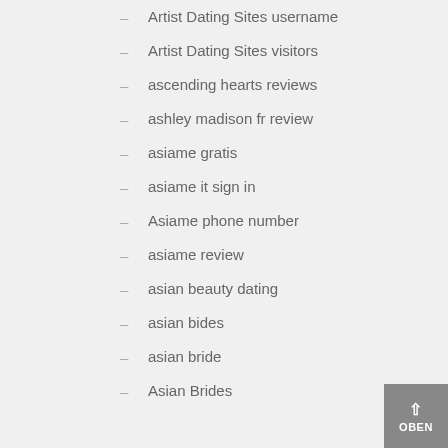– Artist Dating Sites username
– Artist Dating Sites visitors
– ascending hearts reviews
– ashley madison fr review
– asiame gratis
– asiame it sign in
– Asiame phone number
– asiame review
– asian beauty dating
– asian bides
– asian bride
– Asian Brides